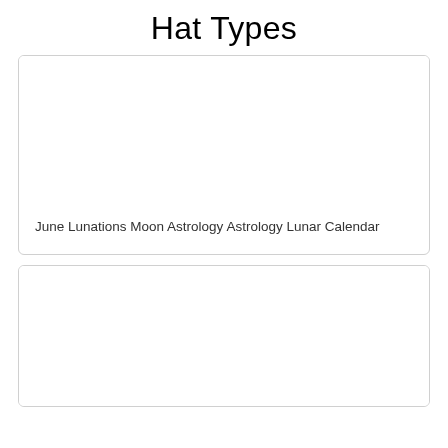Hat Types
[Figure (photo): Card with image area (blank/white) above text label]
June Lunations Moon Astrology Astrology Lunar Calendar
[Figure (photo): Second card with image area (blank/white), partially visible]